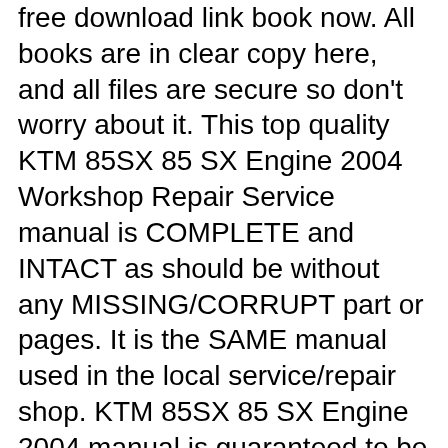free download link book now. All books are in clear copy here, and all files are secure so don't worry about it. This top quality KTM 85SX 85 SX Engine 2004 Workshop Repair Service manual is COMPLETE and INTACT as should be without any MISSING/CORRUPT part or pages. It is the SAME manual used in the local service/repair shop. KTM 85SX 85 SX Engine 2004 manual is guaranteed to be fully funtional to save your precious time.
This top quality KTM 85SX 85 SX Engine 2004 Workshop Repair Service manual is COMPLETE and INTACT as should be without any MISSING/CORRUPT part or pages. It is the SAME manual used in